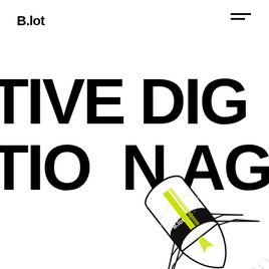B.lot
TIVE DIG
TIO  N AG
[Figure (illustration): A cartoon-style rocket/missile illustration with black and white design and yellow-green accent stripe, labeled 'B.lot', shown launching diagonally with motion lines, overlapping the large background text.]